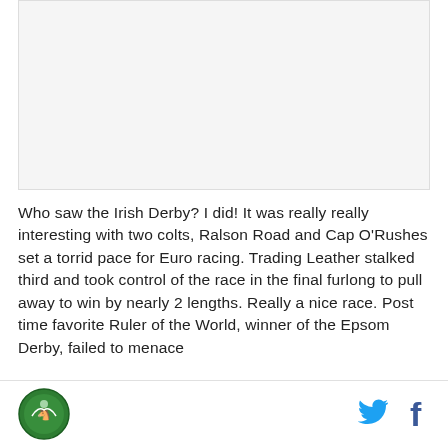[Figure (other): Image placeholder area, appears blank/white with light border]
Who saw the Irish Derby? I did! It was really really interesting with two colts, Ralson Road and Cap O'Rushes set a torrid pace for Euro racing. Trading Leather stalked third and took control of the race in the final furlong to pull away to win by nearly 2 lengths. Really a nice race. Post time favorite Ruler of the World, winner of the Epsom Derby, failed to menace
Logo and social media icons (Twitter, Facebook)